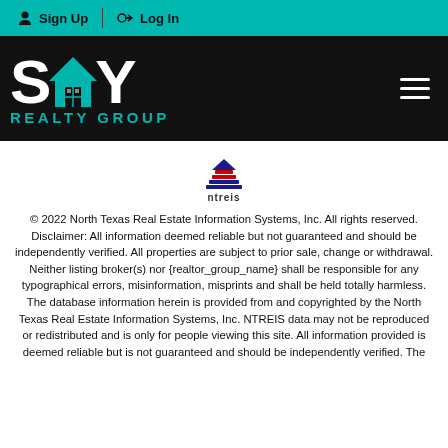Sign Up  Log In
[Figure (logo): SKY Realty Group logo with teal house icon on black background]
[Figure (logo): NTREIS logo — stylized house with red and blue elements, text 'ntreis' below]
© 2022 North Texas Real Estate Information Systems, Inc. All rights reserved. Disclaimer: All information deemed reliable but not guaranteed and should be independently verified. All properties are subject to prior sale, change or withdrawal. Neither listing broker(s) nor {realtor_group_name} shall be responsible for any typographical errors, misinformation, misprints and shall be held totally harmless. The database information herein is provided from and copyrighted by the North Texas Real Estate Information Systems, Inc. NTREIS data may not be reproduced or redistributed and is only for people viewing this site. All information provided is deemed reliable but is not guaranteed and should be independently verified. The